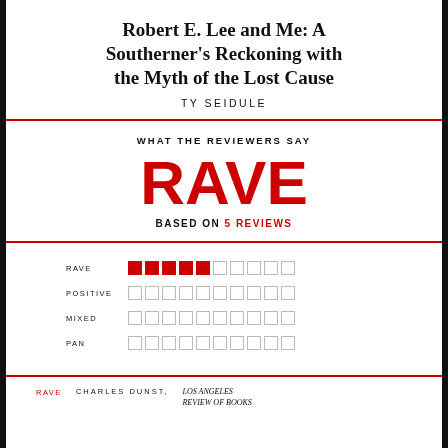Robert E. Lee and Me: A Southerner's Reckoning with the Myth of the Lost Cause
TY SEIDULE
WHAT THE REVIEWERS SAY
RAVE
BASED ON 5 REVIEWS
[Figure (infographic): Rating bar chart with four rows: RAVE (5 filled red boxes out of 10), POSITIVE (0 filled), MIXED (0 filled), PAN (0 filled)]
RAVE   CHARLES DUNST,   LOS ANGELES REVIEW OF BOOKS